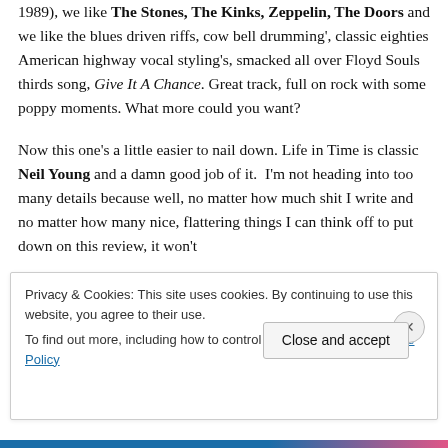1989), we like The Stones, The Kinks, Zeppelin, The Doors and we like the blues driven riffs, cow bell drumming', classic eighties American highway vocal styling's, smacked all over Floyd Souls thirds song, Give It A Chance. Great track, full on rock with some poppy moments. What more could you want?

Now this one's a little easier to nail down. Life in Time is classic Neil Young and a damn good job of it.  I'm not heading into too many details because well, no matter how much shit I write and no matter how many nice, flattering things I can think off to put down on this review, it won't
Privacy & Cookies: This site uses cookies. By continuing to use this website, you agree to their use.
To find out more, including how to control cookies, see here: Cookie Policy